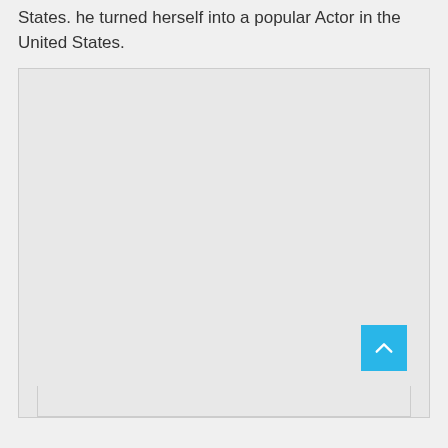States. he turned herself into a popular Actor in the United States.
[Figure (other): A large light gray placeholder image area with a scroll-to-top button (blue square with upward chevron arrow) in the bottom-right corner, and a partially visible content strip at the very bottom.]